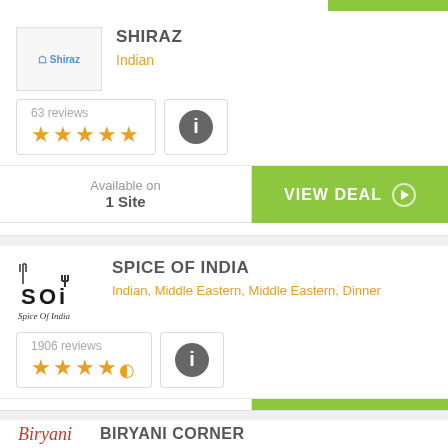[Figure (logo): Shiraz restaurant logo image]
SHIRAZ
Indian
63 reviews ★★★★★
Available on 1 Site
VIEW DEAL
[Figure (logo): Spice of India (SOi) restaurant logo]
SPICE OF INDIA
Indian, Middle Eastern, Middle Eastern, Dinner
1906 reviews ★★★★½
Available on 4 Sites
VIEW DEAL
[Figure (logo): Biryani Corner restaurant logo in cursive script]
BIRYANI CORNER